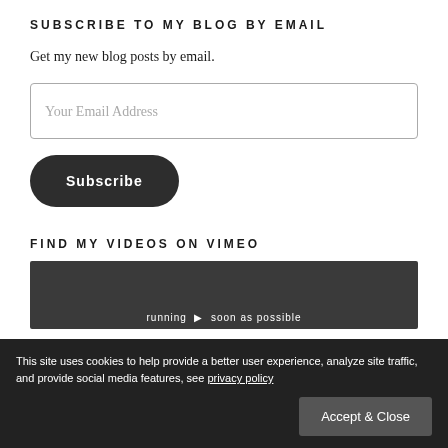SUBSCRIBE TO MY BLOG BY EMAIL
Get my new blog posts by email.
Your Email Address
Subscribe
FIND MY VIDEOS ON VIMEO
[Figure (screenshot): Dark thumbnail image for a Vimeo video with text overlay reading 'running soon as possible']
This site uses cookies to help provide a better user experience, analyze site traffic, and provide social media features, see privacy policy
Accept & Close